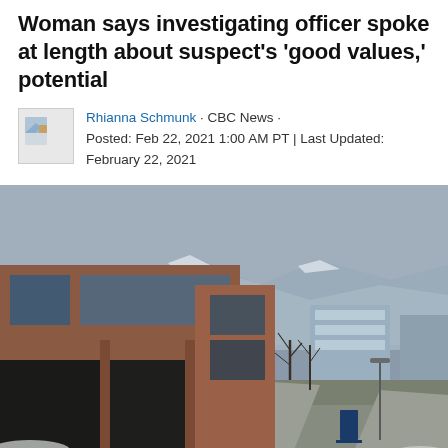Woman says investigating officer spoke at length about suspect's 'good values,' potential
Rhianna Schmunk · CBC News · Posted: Feb 22, 2021 1:00 AM PT | Last Updated: February 22, 2021
[Figure (photo): Exterior photo of a large brick university or civic building in winter with snow on the ground, bare trees, a pathway, mountains visible in background under overcast sky.]